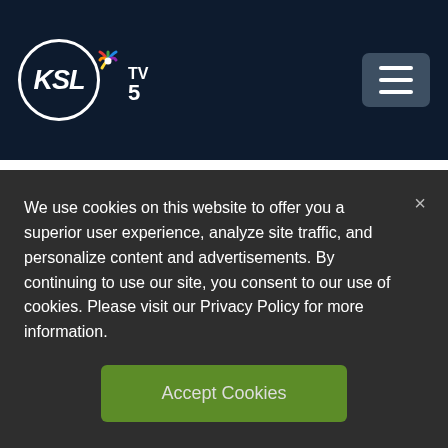[Figure (logo): KSL TV 5 NBC logo with peacock icon in dark navy header bar with hamburger menu button]
Alex Cabrero
Team Utah is a fan favorite at the Little League World Series
1 day ago
We use cookies on this website to offer you a superior user experience, analyze site traffic, and personalize content and advertisements. By continuing to use our site, you consent to our use of cookies. Please visit our Privacy Policy for more information.